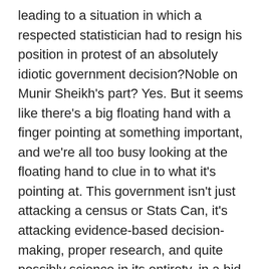leading to a situation in which a respected statistician had to resign his position in protest of an absolutely idiotic government decision?Noble on Munir Sheikh's part? Yes. But it seems like there's a big floating hand with a finger pointing at something important, and we're all too busy looking at the floating hand to clue in to what it's pointing at. This government isn't just attacking a census or Stats Can, it's attacking evidence-based decision-making, proper research, and quite possibly science in its entirety, in a bid to completely eradicate these “annoyances” in favour of ideology-based decisions and policy.Without going through a comprehensive review of recent Tory legislation, the most glaring recent example is the law and order stuff Harper